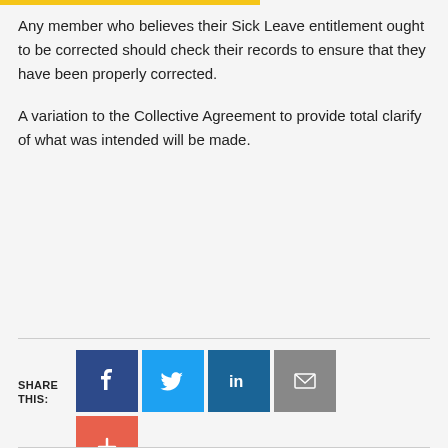Any member who believes their Sick Leave entitlement ought to be corrected should check their records to ensure that they have been properly corrected.
A variation to the Collective Agreement to provide total clarify of what was intended will be made.
SHARE THIS: